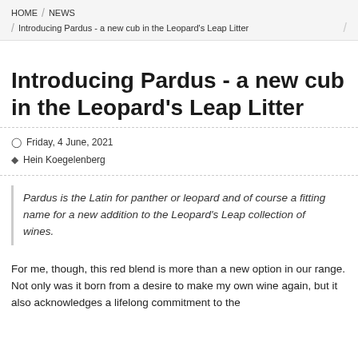HOME / NEWS / Introducing Pardus - a new cub in the Leopard's Leap Litter
Introducing Pardus - a new cub in the Leopard's Leap Litter
Friday, 4 June, 2021
Hein Koegelenberg
Pardus is the Latin for panther or leopard and of course a fitting name for a new addition to the Leopard's Leap collection of wines.
For me, though, this red blend is more than a new option in our range. Not only was it born from a desire to make my own wine again, but it also acknowledges a lifelong commitment to the